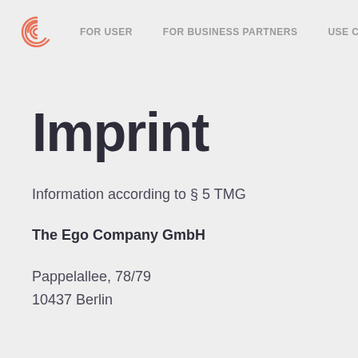FOR USER  FOR BUSINESS PARTNERS  USE C
Imprint
Information according to § 5 TMG
The Ego Company GmbH
Pappelallee, 78/79
10437 Berlin